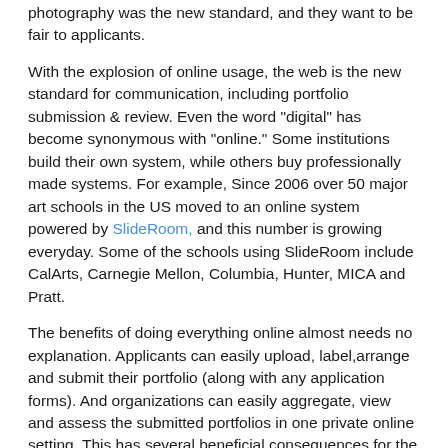photography was the new standard, and they want to be fair to applicants.
With the explosion of online usage, the web is the new standard for communication, including portfolio submission & review. Even the word "digital" has become synonymous with "online." Some institutions build their own system, while others buy professionally made systems. For example, Since 2006 over 50 major art schools in the US moved to an online system powered by SlideRoom, and this number is growing everyday. Some of the schools using SlideRoom include CalArts, Carnegie Mellon, Columbia, Hunter, MICA and Pratt.
The benefits of doing everything online almost needs no explanation. Applicants can easily upload, label,arrange and submit their portfolio (along with any application forms). And organizations can easily aggregate, view and assess the submitted portfolios in one private online setting. This has several beneficial consequences for the organization. First, with the proliferation of media types, it is extremely helpful to have all media converted to one consistent format. There is